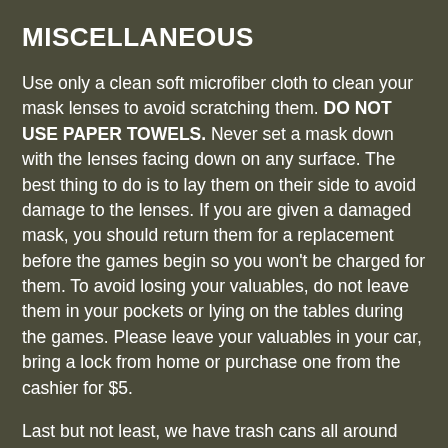MISCELLANEOUS
Use only a clean soft microfiber cloth to clean your mask lenses to avoid scratching them. DO NOT USE PAPER TOWELS. Never set a mask down with the lenses facing down on any surface. The best thing to do is to lay them on their side to avoid damage to the lenses. If you are given a damaged mask, you should return them for a replacement before the games begin so you won't be charged for them. To avoid losing your valuables, do not leave them in your pockets or lying on the tables during the games. Please leave your valuables in your car, bring a lock from home or purchase one from the cashier for $5.
Last but not least, we have trash cans all around the park for your use during the course of the day. Please help us keep the park grounds clean by